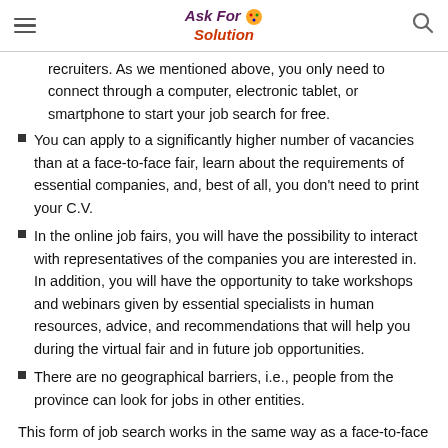Ask For Solution
recruiters. As we mentioned above, you only need to connect through a computer, electronic tablet, or smartphone to start your job search for free.
You can apply to a significantly higher number of vacancies than at a face-to-face fair, learn about the requirements of essential companies, and, best of all, you don't need to print your C.V.
In the online job fairs, you will have the possibility to interact with representatives of the companies you are interested in. In addition, you will have the opportunity to take workshops and webinars given by essential specialists in human resources, advice, and recommendations that will help you during the virtual fair and in future job opportunities.
There are no geographical barriers, i.e., people from the province can look for jobs in other entities.
This form of job search works in the same way as a face-to-face job fair but with added value since you only need a mobile device with